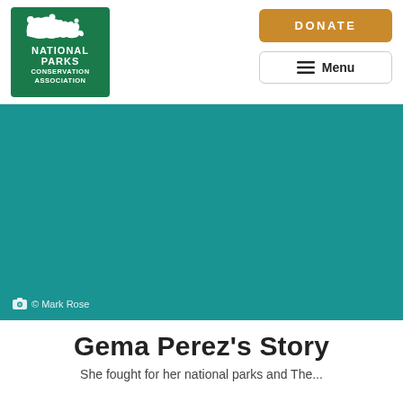[Figure (logo): National Parks Conservation Association logo — green bear silhouette above green rectangular block with white text 'NATIONAL PARKS CONSERVATION ASSOCIATION']
[Figure (other): Orange 'DONATE' button and white bordered 'Menu' button with hamburger icon, forming the website navigation header controls]
[Figure (photo): Teal/green-tinted hero image area with photo credit '© Mark Rose' in lower left corner with camera icon]
© Mark Rose
Gema Perez's Story
She fought for her national parks and The...